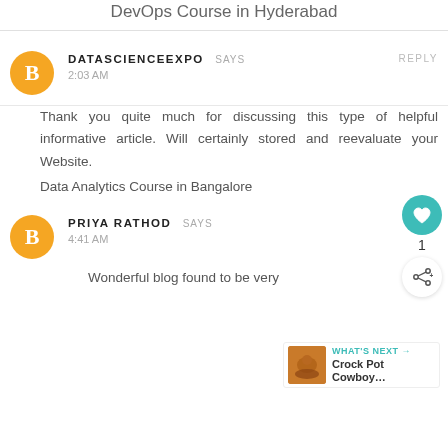DevOps Course in Hyderabad
DATASCIENCEEXPO SAYS
2:03 AM
REPLY
Thank you quite much for discussing this type of helpful informative article. Will certainly stored and reevaluate your Website.
Data Analytics Course in Bangalore
PRIYA RATHOD SAYS
4:41 AM
Wonderful blog found to be very